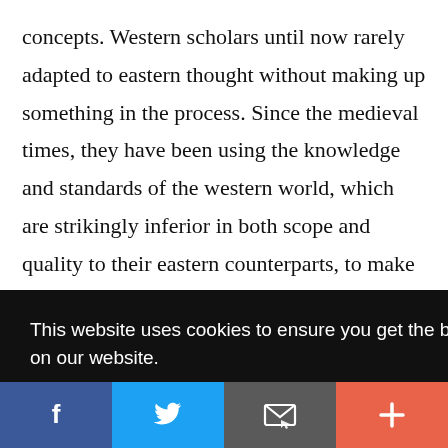concepts. Western scholars until now rarely adapted to eastern thought without making up something in the process. Since the medieval times, they have been using the knowledge and standards of the western world, which are strikingly inferior in both scope and quality to their eastern counterparts, to make sense of the
This website uses cookies to ensure you get the best experience on our website.
Got it!